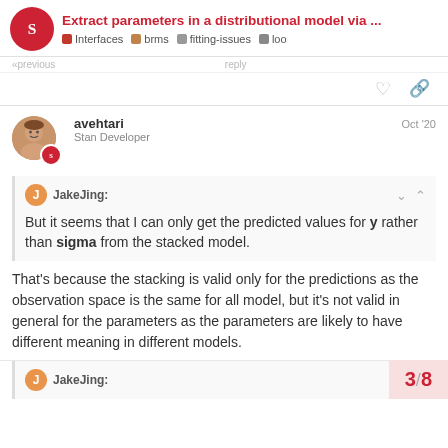Extract parameters in a distributional model via ... | Interfaces  brms  fitting-issues  loo
(partial text cut off at top)
avehtari   Oct '20
Stan Developer
JakeJing:
But it seems that I can only get the predicted values for y rather than sigma from the stacked model.
That's because the stacking is valid only for the predictions as the observation space is the same for all model, but it's not valid in general for the parameters as the parameters are likely to have different meaning in different models.
JakeJing:
3 / 8